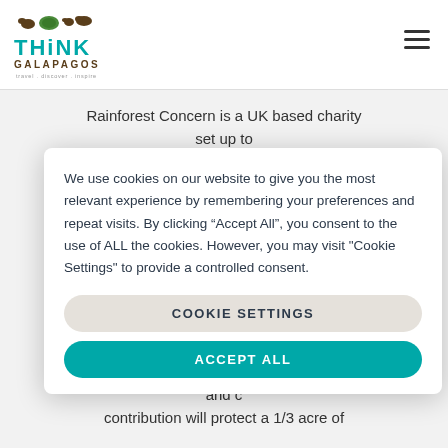[Figure (logo): Think Galapagos logo with animal silhouettes above teal THINK text and brown GALAPAGOS text, tagline: travel. discover. inspire]
Rainforest Concern is a UK based charity set up to ... of th... including... the indi... them for... take dire... of rainfor... name of b... of the... continu... Cotaca... and c... contribution will protect a 1/3 acre of
We use cookies on our website to give you the most relevant experience by remembering your preferences and repeat visits. By clicking “Accept All”, you consent to the use of ALL the cookies. However, you may visit "Cookie Settings" to provide a controlled consent.
COOKIE SETTINGS
ACCEPT ALL